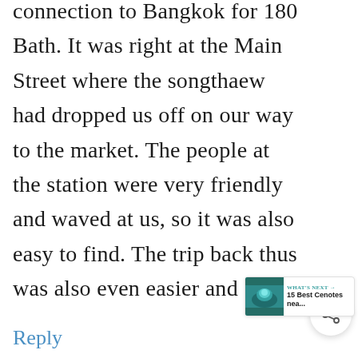connection to Bangkok for 180 Bath. It was right at the Main Street where the songthaew had dropped us off on our way to the market. The people at the station were very friendly and waved at us, so it was also easy to find. The trip back thus was also even easier and faster.
[Figure (other): Share button (circular icon with share symbol)]
[Figure (other): What's Next widget showing thumbnail of cenotes with text '15 Best Cenotes nea...']
Reply